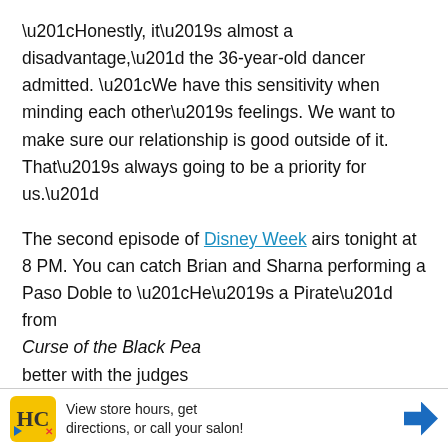“Honestly, it’s almost a disadvantage,” the 36-year-old dancer admitted. “We have this sensitivity when minding each other’s feelings. We want to make sure our relationship is good outside of it. That’s always going to be a priority for us.”
The second episode of Disney Week airs tonight at 8 PM. You can catch Brian and Sharna performing a Paso Doble to “He’s a Pirate” from Curse of the Black Pea better with the judges
Do you think the PDA you think in the comm
[Figure (other): Advertisement banner: Hairclub logo with yellow background, text 'View store hours, get directions, or call your salon!' with blue navigation arrow icon]